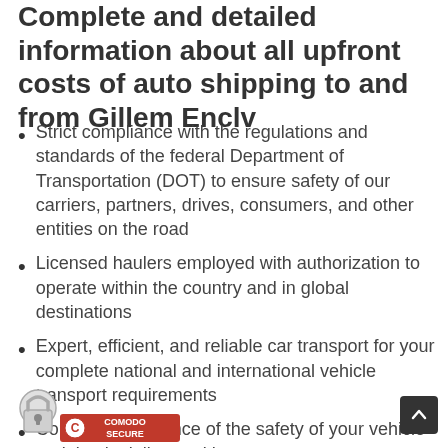Complete and detailed information about all upfront costs of auto shipping to and from Gillem Enclv
Strict compliance with the regulations and standards of the federal Department of Transportation (DOT) to ensure safety of our carriers, partners, drives, consumers, and other entities on the road
Licensed haulers employed with authorization to operate within the country and in global destinations
Expert, efficient, and reliable car transport for your complete national and international vehicle transport requirements
Complete assurance of the safety of your vehicle and timely delivery with accuracy
[Figure (logo): Comodo Secure badge with padlock icon and red label reading COMODO SECURE]